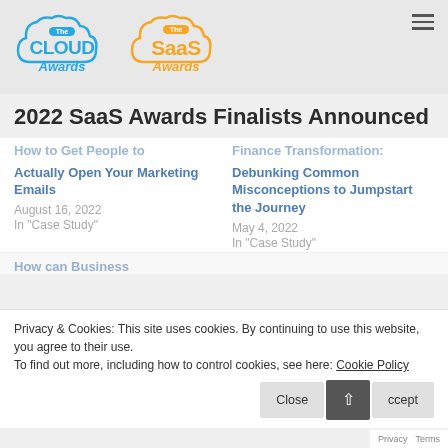[Figure (logo): The Cloud Awards logo - blue cloud shape with 'The' pill badge, 'CLOUD' and 'Awards' text in blue]
[Figure (logo): The SaaS Awards logo - orange cloud shape with 'The' pill badge, 'SaaS' and 'Awards' text in orange]
2022 SaaS Awards Finalists Announced
How to Get People to Actually Open Your Marketing Emails
August 16, 2022
In "Case Study"
Finance Transformation: Debunking Common Misconceptions to Jumpstart the Journey
May 4, 2022
In "Case Study"
How can Business
Privacy & Cookies: This site uses cookies. By continuing to use this website, you agree to their use.
To find out more, including how to control cookies, see here: Cookie Policy
Privacy  Terms